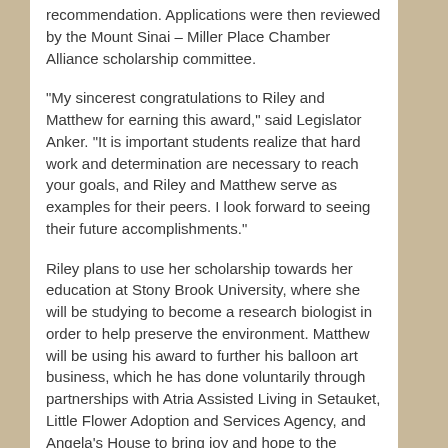recommendation. Applications were then reviewed by the Mount Sinai – Miller Place Chamber Alliance scholarship committee.
“My sincerest congratulations to Riley and Matthew for earning this award,” said Legislator Anker. “It is important students realize that hard work and determination are necessary to reach your goals, and Riley and Matthew serve as examples for their peers. I look forward to seeing their future accomplishments.”
Riley plans to use her scholarship towards her education at Stony Brook University, where she will be studying to become a research biologist in order to help preserve the environment. Matthew will be using his award to further his balloon art business, which he has done voluntarily through partnerships with Atria Assisted Living in Setauket, Little Flower Adoption and Services Agency, and Angela’s House to bring joy and hope to the elderly, children with special needs, and their families.
The Mount Sinai – Miller Place Chamber Alliance is an organization dedicated to the economic growth of our